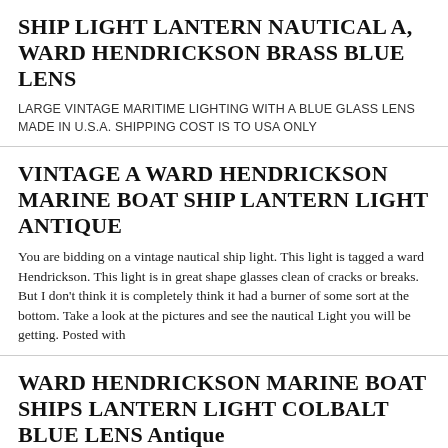SHIP LIGHT LANTERN NAUTICAL A, WARD HENDRICKSON BRASS BLUE LENS
LARGE VINTAGE MARITIME LIGHTING WITH A BLUE GLASS LENS MADE IN U.S.A. SHIPPING COST IS TO USA ONLY
VINTAGE A WARD HENDRICKSON MARINE BOAT SHIP LANTERN LIGHT ANTIQUE
You are bidding on a vintage nautical ship light. This light is tagged a ward Hendrickson. This light is in great shape glasses clean of cracks or breaks. But I don't think it is completely think it had a burner of some sort at the bottom. Take a look at the pictures and see the nautical Light you will be getting. Posted with
WARD HENDRICKSON MARINE BOAT SHIPS LANTERN LIGHT COLBALT BLUE LENS Antique
We are offering for your consideration a large antique ships lantern manufactured by A WARD HENDRICKSOM& CO. of Brooklyn NY. The lens is a beautiful cobalt blue. The lantern is large. 16 inches tall 10.5 inches deep and is 13 inches wide including the holders for the rope handle. The lid is solid brass and screws on and off well. The body of the lantern is hand soldered throughout, galvanized tin. It has been painted a bronze color a long time ago; it may well be original to the lantern. It is quite heavy weighing a little over 16 pounds. It has been electrified at one time and it does light well. There is one very small chip in the lens